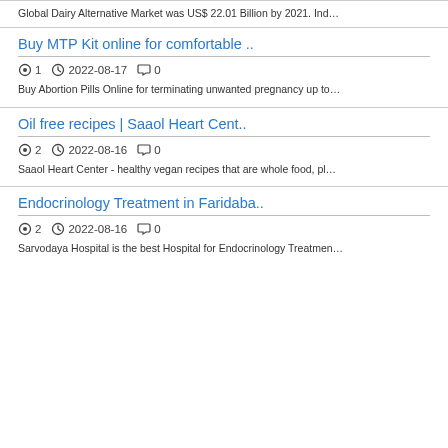Global Dairy Alternative Market was US$ 22.01 Billion by 2021. Ind…
Buy MTP Kit online for comfortable ..
1  2022-08-17  0
Buy Abortion Pills Online for terminating unwanted pregnancy up to…
Oil free recipes | Saaol Heart Cent..
2  2022-08-16  0
Saaol Heart Center - healthy vegan recipes that are whole food, pl…
Endocrinology Treatment in Faridaba..
2  2022-08-16  0
Sarvodaya Hospital is the best Hospital for Endocrinology Treatmen…